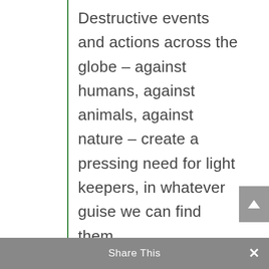Destructive events and actions across the globe – against humans, against animals, against nature – create a pressing need for light keepers, in whatever guise we can find them.

We are happy to publish the winners of this year's Jane
Share This